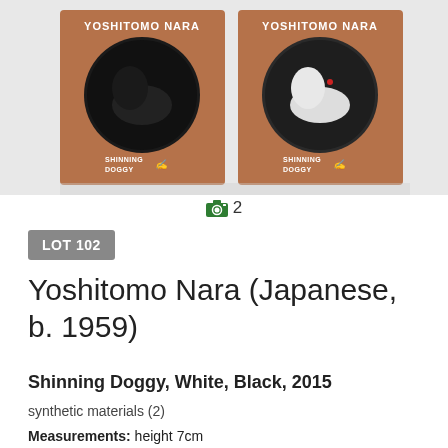[Figure (photo): Two Yoshitomo Nara 'Shinning Doggy' figurine boxes side by side on a white reflective surface. Left box contains a black dog figurine, right box contains a white dog figurine. Both boxes are brown cardboard with a circular window and 'YOSHITOMO NARA' printed at top and 'SHINNING DOGGY' at bottom with a signature.]
2
LOT 102
Yoshitomo Nara (Japanese, b. 1959)
Shinning Doggy, White, Black, 2015
synthetic materials (2)
Measurements: height 7cm